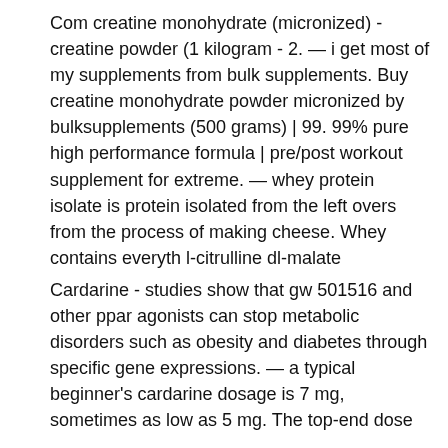Com creatine monohydrate (micronized) - creatine powder (1 kilogram - 2. — i get most of my supplements from bulk supplements. Buy creatine monohydrate powder micronized by bulksupplements (500 grams) | 99. 99% pure high performance formula | pre/post workout supplement for extreme. — whey protein isolate is protein isolated from the left overs from the process of making cheese. Whey contains everyth l-citrulline dl-malate
Cardarine - studies show that gw 501516 and other ppar agonists can stop metabolic disorders such as obesity and diabetes through specific gene expressions. — a typical beginner's cardarine dosage is 7 mg, sometimes as low as 5 mg. The top-end dose that most people use and recommend is 20 mg. Description: 1st gen sarm; known as the &quot;endurance sarm&quot; and fat loss associated with going further and longer